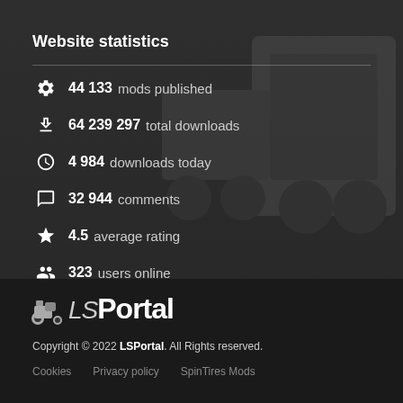Website statistics
44 133 mods published
64 239 297 total downloads
4 984 downloads today
32 944 comments
4.5 average rating
323 users online
[Figure (logo): LSPortal logo with tractor icon]
Copyright © 2022 LSPortal. All Rights reserved.
Cookies   Privacy policy   SpinTires Mods